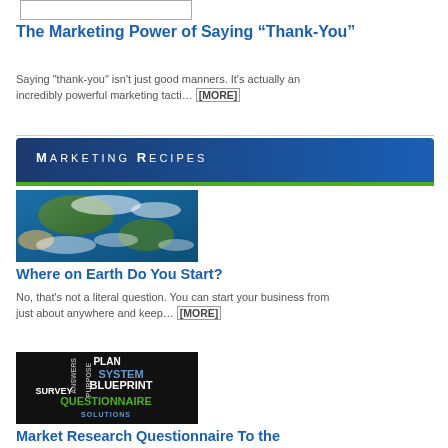[Figure (other): Small empty white rectangle with thin border]
The Marketing Power of Saying “Thank-You”
Saying "thank-you" isn't just good manners. It's actually an incredibly powerful marketing tacti… [MORE]
Marketing Recipes
[Figure (photo): Aerial/satellite photo of Earth showing clouds, land, and ocean]
Where on Earth Do You Start?
No, that's not a literal question. You can start your business from just about anywhere and keep… [MORE]
[Figure (infographic): Black background word cloud image with marketing terms: PLAN, SYSTEM, BLUEPRINT, SURVEY, ANSWERS, PURPOSE, QUESTIONNAIRE, SOLUTIONS]
Market Research Questionnaire To the